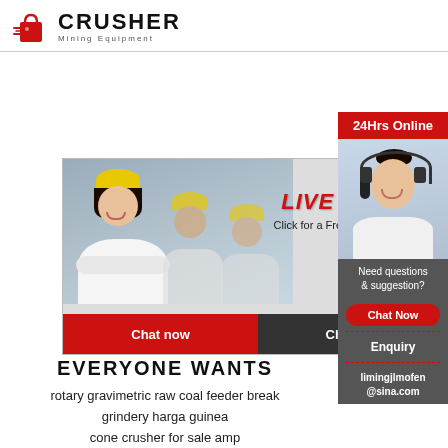[Figure (logo): Crusher Mining Equipment logo with red shopping bag icon and bold black CRUSHER text]
[Figure (infographic): Live Chat popup with workers wearing yellow helmets, LIVE CHAT text in red, Click for a Free Consultation subtitle, Chat now (red) and Chat later (dark) buttons, close X button, and customer service lady with headset on right side with 24Hrs Online banner]
EVERYONE WANTS
rotary gravimetric raw coal feeder break
grindery harga guinea
cone crusher for sale amp